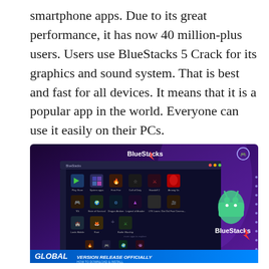smartphone apps. Due to its great performance, it has now 40 million-plus users. Users use BlueStacks 5 Crack for its graphics and sound system. That is best and fast for all devices. It means that it is a popular app in the world. Everyone can use it easily on their PCs.
[Figure (screenshot): BlueStacks 5 application screenshot showing the Android emulator interface with various app icons including Play Store, Free Fire, Call of Duty, Among Us, and others. The bottom banner reads 'GLOBAL VERSION RELEASE OFFICIALLY - HOW TO DOWNLOAD & INSTALL'. The BlueStacks logo and branding are visible.]